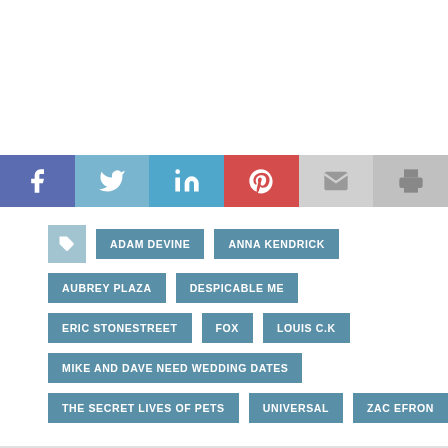[Figure (infographic): Social media sharing bar with Facebook, Twitter, LinkedIn, Pinterest, Email, and Print buttons]
ADAM DEVINE
ANNA KENDRICK
AUBREY PLAZA
DESPICABLE ME
ERIC STONESTREET
FOX
LOUIS C.K
MIKE AND DAVE NEED WEDDING DATES
THE SECRET LIVES OF PETS
UNIVERSAL
ZAC EFRON